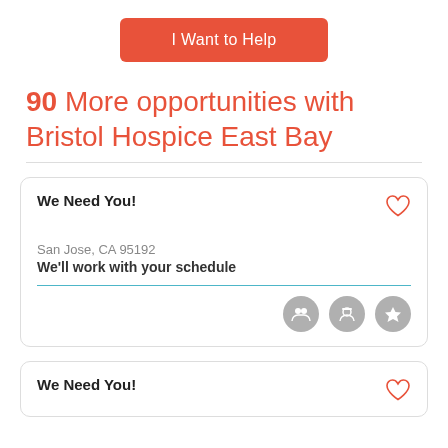I Want to Help
90 More opportunities with Bristol Hospice East Bay
We Need You!
San Jose, CA 95192
We'll work with your schedule
We Need You!